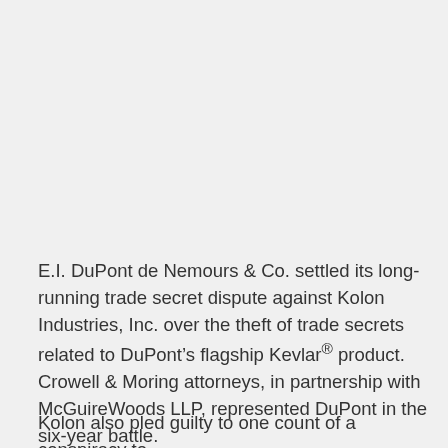E.I. DuPont de Nemours & Co. settled its long-running trade secret dispute against Kolon Industries, Inc. over the theft of trade secrets related to DuPont's flagship Kevlar® product. Crowell & Moring attorneys, in partnership with McGuireWoods LLP, represented DuPont in the six-year battle.
Kolon also pled guilty to one count of a conspiracy to